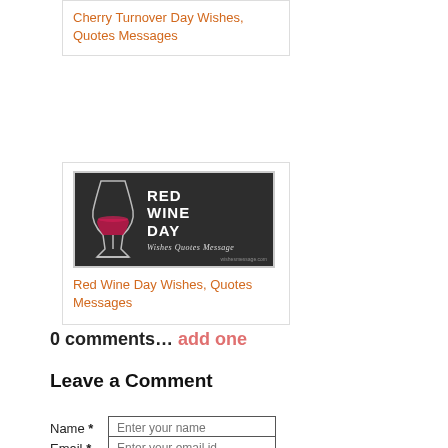Cherry Turnover Day Wishes, Quotes Messages
[Figure (photo): Red Wine Day image — dark background with wine glass silhouette and bold text reading RED WINE DAY with subtitle Wishes Quotes Message]
Red Wine Day Wishes, Quotes Messages
0 comments… add one
Leave a Comment
Name *  Enter your name
Email *  Enter your email id